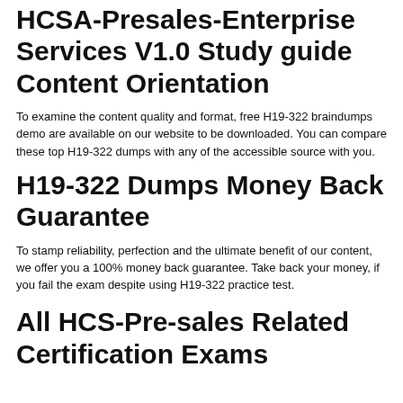HCSA-Presales-Enterprise Services V1.0 Study guide Content Orientation
To examine the content quality and format, free H19-322 braindumps demo are available on our website to be downloaded. You can compare these top H19-322 dumps with any of the accessible source with you.
H19-322 Dumps Money Back Guarantee
To stamp reliability, perfection and the ultimate benefit of our content, we offer you a 100% money back guarantee. Take back your money, if you fail the exam despite using H19-322 practice test.
All HCS-Pre-sales Related Certification Exams